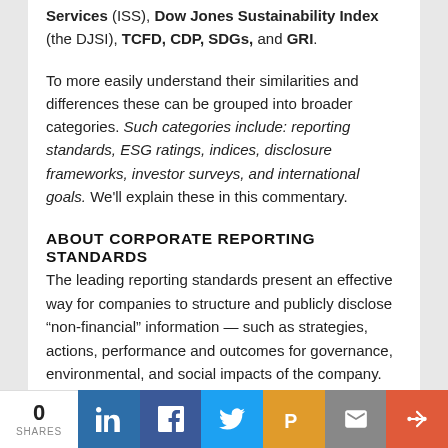Services (ISS), Dow Jones Sustainability Index (the DJSI), TCFD, CDP, SDGs, and GRI.
To more easily understand their similarities and differences these can be grouped into broader categories. Such categories include: reporting standards, ESG ratings, indices, disclosure frameworks, investor surveys, and international goals. We'll explain these in this commentary.
ABOUT CORPORATE REPORTING STANDARDS
The leading reporting standards present an effective way for companies to structure and publicly disclose “non-financial” information — such as strategies, actions, performance and outcomes for governance, environmental, and social impacts of the company. (That is, impacts affecting stakeholders, including investors.)
These important disclosures can be identified in the form
0 SHARES | LinkedIn | Facebook | Twitter | Pushover | Email | More